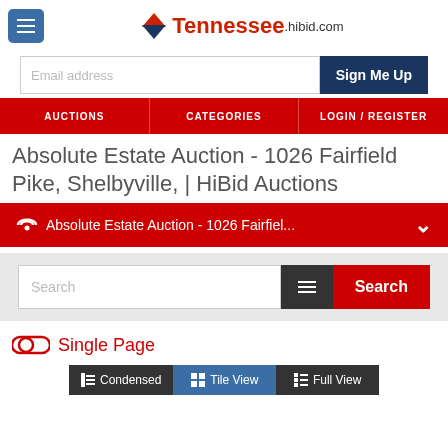Tennessee.hibid.com
Email address
Sign Me Up
AUCTIONS | CATEGORIES | LOGIN/REGISTER
Absolute Estate Auction - 1026 Fairfield Pike, Shelbyville, | HiBid Auctions
Absolute Estate Auction - 1026 Fairfiel...
Search
Single Page
Condensed | Tile View | Full View